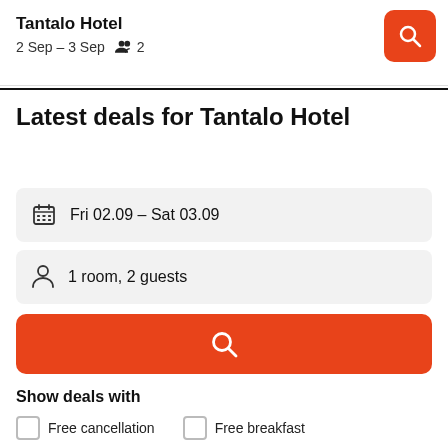Tantalo Hotel
2 Sep – 3 Sep   2
Latest deals for Tantalo Hotel
Fri 02.09  -  Sat 03.09
1 room, 2 guests
Show deals with
Free cancellation
Free breakfast